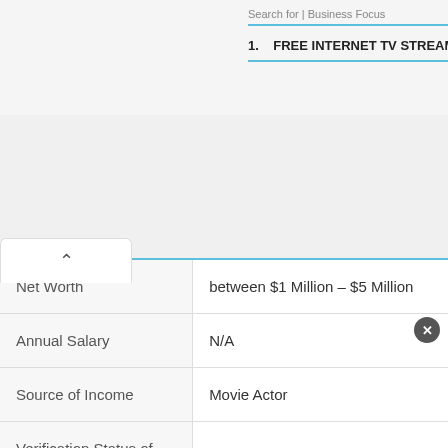Search for | Business Focus
1. FREE INTERNET TV STREAM
| Net Worth | between $1 Million – $5 Million |
| Annual Salary | N/A |
| Source of Income | Movie Actor |
| Verification Status of Wealth | Unverified |